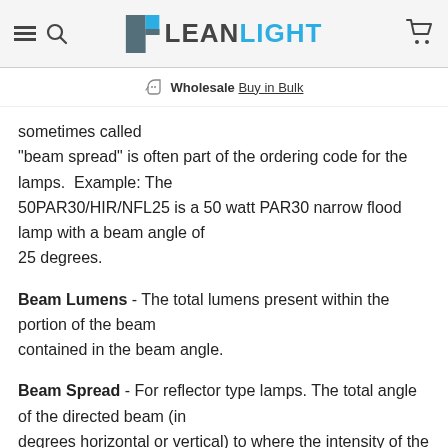LEANLIGHT
Wholesale Buy in Bulk
sometimes called "beam spread" is often part of the ordering code for the lamps.  Example: The 50PAR30/HIR/NFL25 is a 50 watt PAR30 narrow flood lamp with a beam angle of 25 degrees.
Beam Lumens - The total lumens present within the portion of the beam contained in the beam angle.
Beam Spread - For reflector type lamps. The total angle of the directed beam (in degrees horizontal or vertical) to where the intensity of the